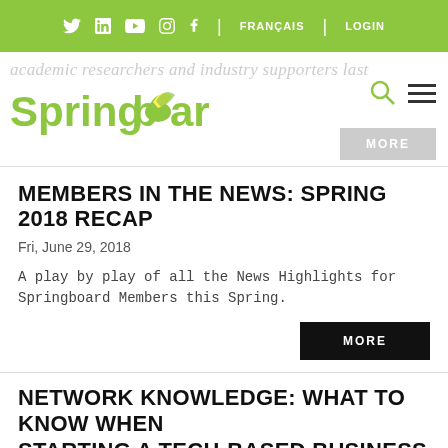Twitter | LinkedIn | YouTube | Instagram | Facebook | FRANÇAIS | LOGIN
[Figure (logo): Springboard logo with green banana illustration]
academic researchers and industry supporters last
MEMBERS IN THE NEWS: SPRING 2018 RECAP
Fri, June 29, 2018
A play by play of all the News Highlights for Springboard Members this Spring.
MORE
NETWORK KNOWLEDGE: WHAT TO KNOW WHEN STARTING A TECH-BASED BUSINESS